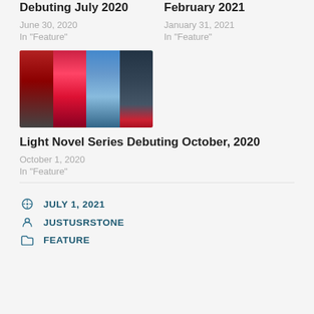Debuting July 2020
June 30, 2020
In "Feature"
February 2021
January 31, 2021
In "Feature"
[Figure (photo): Collage of four light novel cover images side by side]
Light Novel Series Debuting October, 2020
October 1, 2020
In "Feature"
JULY 1, 2021
JUSTUSRSTONE
FEATURE